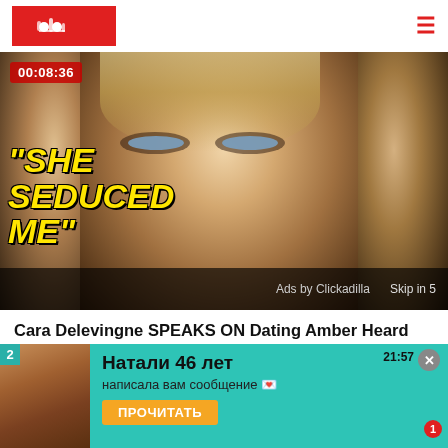Website header with logo and hamburger menu
[Figure (screenshot): Video thumbnail showing Cara Delevingne with text overlay '"SHE SEDUCED ME"' in yellow italic bold font, timer badge '00:08:36' top left, ad overlay 'Ads by Clickadilla' and 'Skip in 5' at bottom]
Cara Delevingne SPEAKS ON Dating Amber Heard Behind Johnny Depp's Back
[Figure (infographic): Advertisement banner with teal background showing: number 2, thumbnail image, close button, time 21:57, name 'Натали 46 лет', message 'написала вам сообщение 💌', CTA button 'ПРОЧИТАТЬ' with notification badge 1]